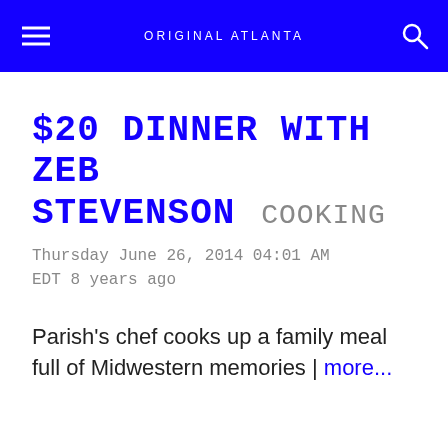ORIGINAL ATLANTA
$20 DINNER WITH ZEB STEVENSON COOKING
Thursday June 26, 2014 04:01 AM EDT 8 years ago
Parish's chef cooks up a family meal full of Midwestern memories | more...